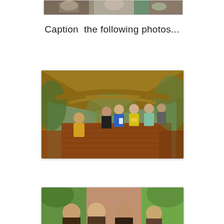[Figure (photo): Partial photo at top of page showing people gathered around a table, cropped]
Caption  the following photos...
[Figure (photo): Group of children and adults sitting under a bamboo gazebo/nipa hut around a wooden table outdoors]
[Figure (photo): Group of people outdoors, partially visible, cropped at bottom of page]